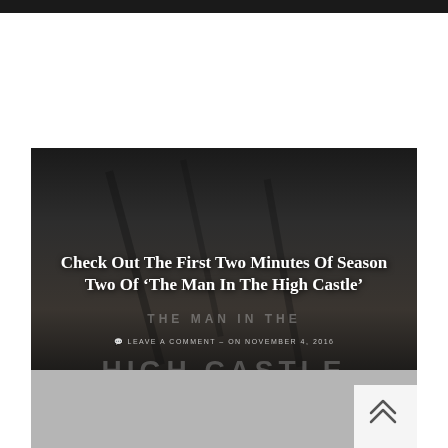[Figure (photo): Dark promotional image for 'The Man In The High Castle' TV show with white overlaid title text and metadata]
Check Out The First Two Minutes Of Season Two Of ‘The Man In The High Castle’
LEAVE A COMMENT – ON NOVEMBER 4, 2016
[Figure (photo): Gray placeholder image / second card]